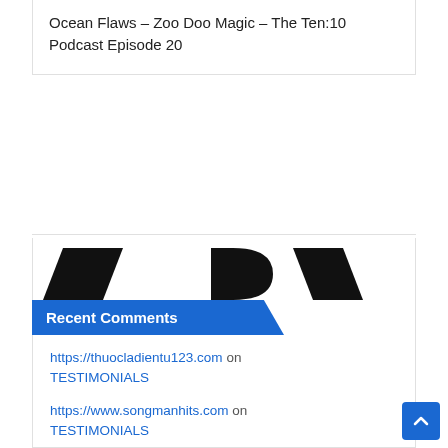Ocean Flaws – Zoo Doo Magic – The Ten:10 Podcast Episode 20
[Figure (logo): Partial black logo graphic, cropped, showing stylized letters]
Recent Comments
https://thuocladientu123.com on TESTIMONIALS
https://www.songmanhits.com on TESTIMONIALS
Open Tibia Discord on TESTIMONIALS
ot serv list on TESTIMONIALS
zoritoler imol on TESTIMONIALS